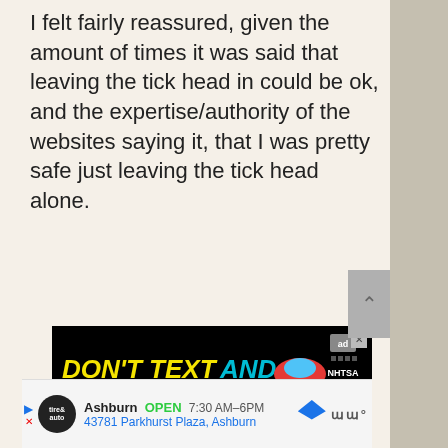I felt fairly reassured, given the amount of times it was said that leaving the tick head in could be ok, and the expertise/authority of the websites saying it, that I was pretty safe just leaving the tick head alone.
[Figure (screenshot): Advertisement banner with black background. Yellow bold italic text 'DON'T TEXT AND' followed by a red car emoji, with NHTSA logo and ad badge on the right, and a close X button.]
[Figure (screenshot): Tire and auto service location bar showing Ashburn OPEN 7:30AM-6PM, 43781 Parkhurst Plaza, Ashburn, with navigation icon and audio waveform icon.]